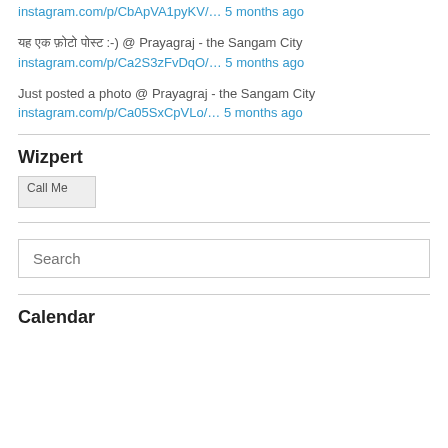instagram.com/p/CbApVA1pyKV/… 5 months ago
यह एक फ़ोटो पोस्ट :-)  @ Prayagraj - the Sangam City
instagram.com/p/Ca2S3zFvDqO/… 5 months ago
Just posted a photo @ Prayagraj - the Sangam City
instagram.com/p/Ca05SxCpVLo/… 5 months ago
Wizpert
[Figure (other): Call Me button image]
Search
Calendar